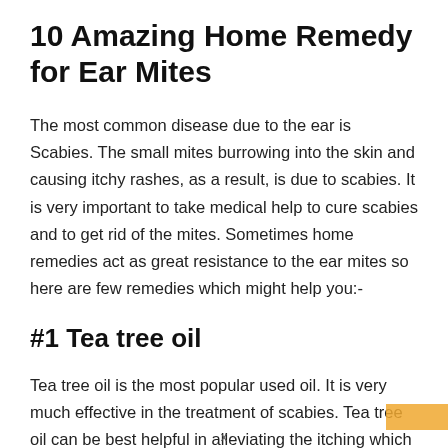10 Amazing Home Remedy for Ear Mites
The most common disease due to the ear is Scabies. The small mites burrowing into the skin and causing itchy rashes, as a result, is due to scabies. It is very important to take medical help to cure scabies and to get rid of the mites. Sometimes home remedies act as great resistance to the ear mites so here are few remedies which might help you:-
#1 Tea tree oil
Tea tree oil is the most popular used oil. It is very much effective in the treatment of scabies. Tea tree oil can be best helpful in alleviating the itching which is due to...